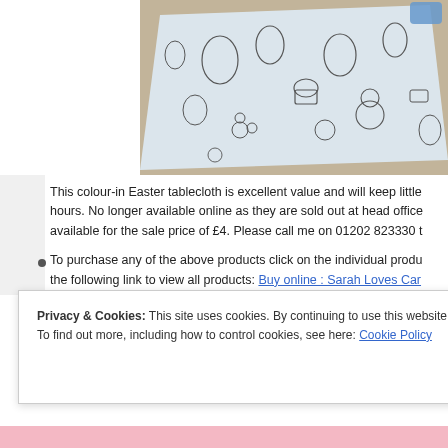[Figure (photo): A colour-in Easter tablecloth laid on a brown table, showing doodle-style Easter illustrations (eggs, cupcakes, chicks, flowers) ready to be coloured in. A small blue item is visible in the top right corner.]
This colour-in Easter tablecloth is excellent value and will keep little hours. No longer available online as they are sold out at head office available for the sale price of £4. Please call me on 01202 823330 t
To purchase any of the above products click on the individual produ the following link to view all products: Buy online : Sarah Loves Car
Privacy & Cookies: This site uses cookies. By continuing to use this website, you agree to their use.
To find out more, including how to control cookies, see here: Cookie Policy
Close and accept